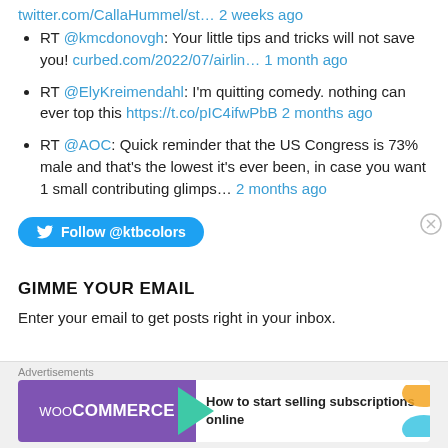twitter.com/CallaHummel/st… 2 weeks ago
RT @kmcdonovgh: Your little tips and tricks will not save you! curbed.com/2022/07/airlin… 1 month ago
RT @ElyKreimendahl: I'm quitting comedy. nothing can ever top this https://t.co/pIC4ifwPbB 2 months ago
RT @AOC: Quick reminder that the US Congress is 73% male and that's the lowest it's ever been, in case you want 1 small contributing glimps… 2 months ago
[Figure (other): Twitter Follow button for @ktbcolors]
GIMME YOUR EMAIL
Enter your email to get posts right in your inbox.
[Figure (other): WooCommerce advertisement banner: How to start selling subscriptions online]